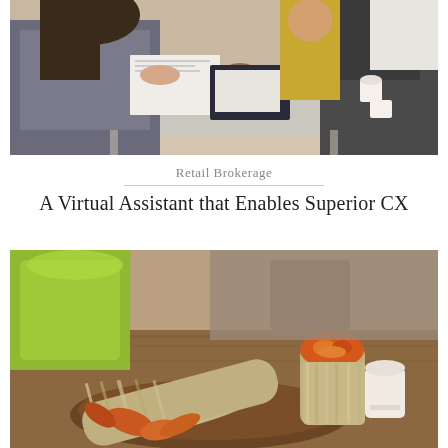[Figure (photo): Two people exchanging documents across a glass table in a meeting or consultation setting]
Retail Brokerage
A Virtual Assistant that Enables Superior CX
[Figure (photo): A burrito wrapped in foil on a wooden plate with a green drink in the background]